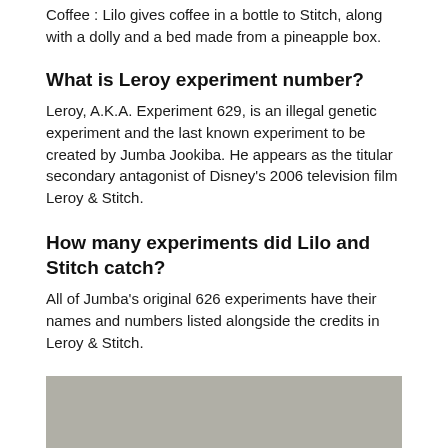Coffee : Lilo gives coffee in a bottle to Stitch, along with a dolly and a bed made from a pineapple box.
What is Leroy experiment number?
Leroy, A.K.A. Experiment 629, is an illegal genetic experiment and the last known experiment to be created by Jumba Jookiba. He appears as the titular secondary antagonist of Disney's 2006 television film Leroy & Stitch.
How many experiments did Lilo and Stitch catch?
All of Jumba's original 626 experiments have their names and numbers listed alongside the credits in Leroy & Stitch.
[Figure (photo): A gray/beige rectangular image placeholder, shown partially at the bottom of the page.]